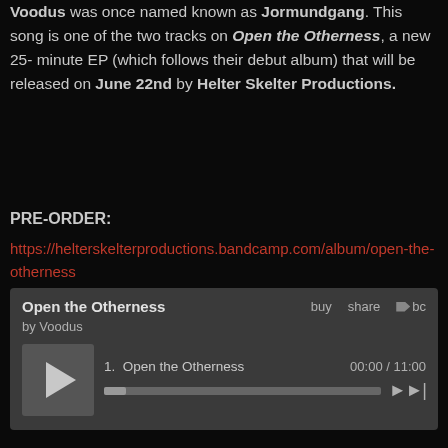Voodus was once named known as Jormundgang. This song is one of the two tracks on Open the Otherness, a new 25-minute EP (which follows their debut album) that will be released on June 22nd by Helter Skelter Productions.
PRE-ORDER:
https://helterskelterproductions.bandcamp.com/album/open-the-otherness
FACEBOOK:
https://www.facebook.com/voodus666/
[Figure (screenshot): Bandcamp embedded music player widget showing 'Open the Otherness' EP by Voodus. Has buy, share, bc logo buttons. Track 1: Open the Otherness, 00:00 / 11:00, with play button, progress bar, and skip button.]